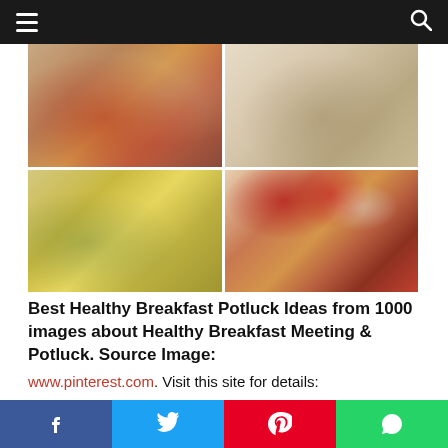Navigation bar with hamburger menu and search icon
[Figure (photo): A 2x2 grid collage of food photos: top-left shows a pastry/pie with red berry jam filling, top-right shows a sliced layered cake/roll on a plate with a fork, bottom-left shows three egg/veggie muffin cups with broccoli, bottom-right shows French toast or pancakes topped with raspberries and whipped cream]
Best Healthy Breakfast Potluck Ideas from 1000 images about Healthy Breakfast Meeting & Potluck. Source Image: www.pinterest.com. Visit this site for details: www.pinterest.com
Social share bar: Facebook, Twitter, Pinterest, WhatsApp